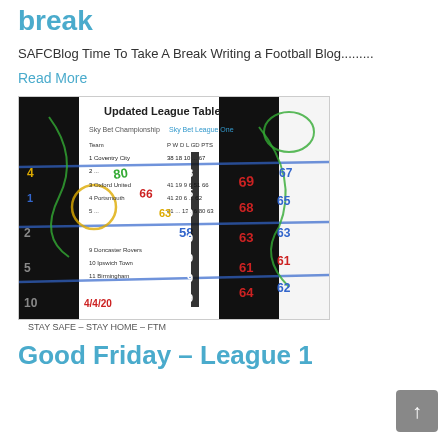break
SAFCBlog Time To Take A Break Writing a Football Blog.........
Read More
[Figure (photo): Updated League Table image showing a handwritten/annotated Sky Bet League One table with colorful scribbled numbers and annotations over a printed table. Caption reads STAY SAFE - STAY HOME - FTM]
STAY SAFE – STAY HOME – FTM
Good Friday – League 1